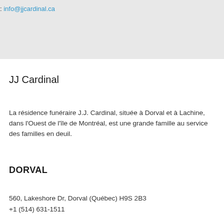: info@jjcardinal.ca
JJ Cardinal
La résidence funéraire J.J. Cardinal, située à Dorval et à Lachine, dans l'Ouest de l'île de Montréal, est une grande famille au service des familles en deuil.
DORVAL
560, Lakeshore Dr, Dorval (Québec) H9S 2B3
+1 (514) 631-1511